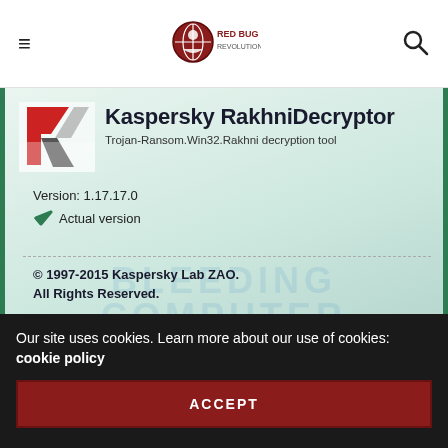≡  [Red Bug Revolutionist logo]  🔍
[Figure (screenshot): Kaspersky RakhniDecryptor application about screen showing logo, title, version 1.17.17.0, Actual version checkmark, dashed separator, copyright notice © 1997-2015 Kaspersky Lab ZAO. All Rights Reserved., warning about exclusive rights, and trademark notice. BleepingComputer watermark overlaid.]
Our site uses cookies. Learn more about our use of cookies: cookie policy
ACCEPT